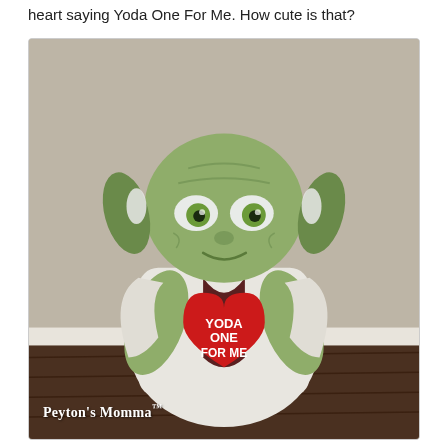heart saying Yoda One For Me. How cute is that?
[Figure (photo): A Yoda plush toy dressed in a white Jedi robe, holding a red heart-shaped pillow that reads 'YODA ONE FOR ME'. The toy is sitting on a dark wood floor against a beige wall. A watermark reads 'Peyton's Momma™'.]